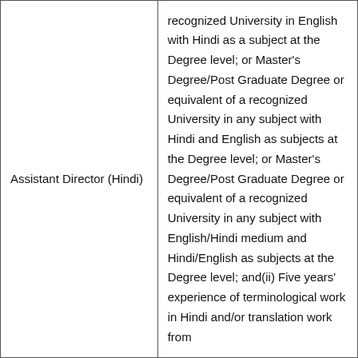| Assistant Director (Hindi) | recognized University in English with Hindi as a subject at the Degree level; or Master's Degree/Post Graduate Degree or equivalent of a recognized University in any subject with Hindi and English as subjects at the Degree level; or Master's Degree/Post Graduate Degree or equivalent of a recognized University in any subject with English/Hindi medium and Hindi/English as subjects at the Degree level; and(ii) Five years' experience of terminological work in Hindi and/or translation work from |